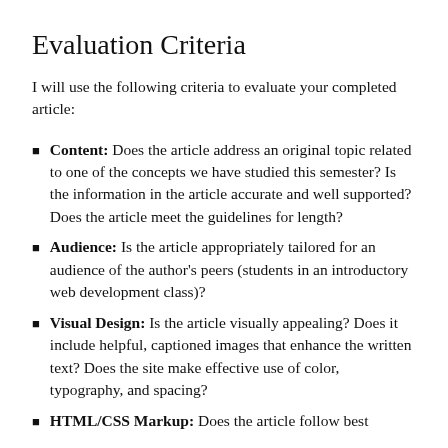Evaluation Criteria
I will use the following criteria to evaluate your completed article:
Content: Does the article address an original topic related to one of the concepts we have studied this semester? Is the information in the article accurate and well supported? Does the article meet the guidelines for length?
Audience: Is the article appropriately tailored for an audience of the author's peers (students in an introductory web development class)?
Visual Design: Is the article visually appealing? Does it include helpful, captioned images that enhance the written text? Does the site make effective use of color, typography, and spacing?
HTML/CSS Markup: Does the article follow best practices for writing HTML and CSS like...